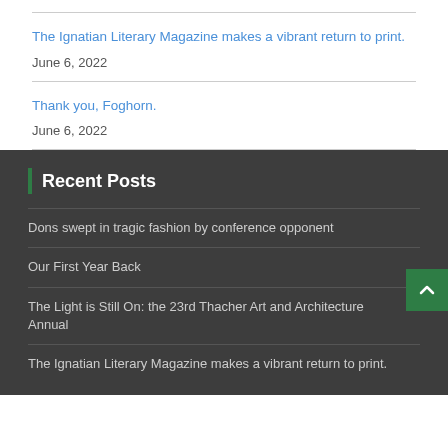The Ignatian Literary Magazine makes a vibrant return to print.
June 6, 2022
Thank you, Foghorn.
June 6, 2022
Recent Posts
Dons swept in tragic fashion by conference opponent
Our First Year Back
The Light is Still On: the 23rd Thacher Art and Architecture Annual
The Ignatian Literary Magazine makes a vibrant return to print.